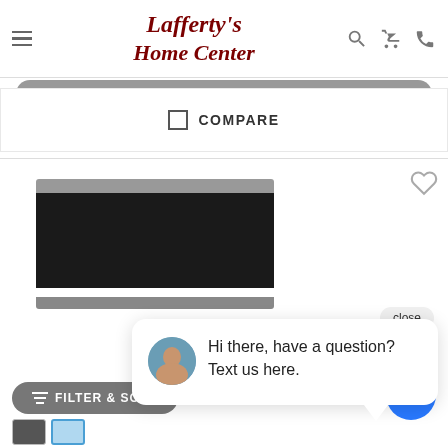Lafferty's Home Center
COMPARE
[Figure (screenshot): Product listing page showing a home appliance (oven/microwave), a chat popup with avatar saying 'Hi there, have a question? Text us here.', a Filter & Sort button, and a chat button]
Hi there, have a question? Text us here.
FILTER & SORT